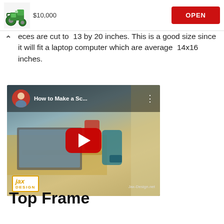[Figure (screenshot): Advertisement banner showing a green tractor with price $10,000 and a red OPEN button]
eces are cut to 13 by 20 inches. This is a good size since it will fit a laptop computer which are average 14x16 inches.
[Figure (screenshot): YouTube video thumbnail titled 'How to Make a Sc...' showing a wooden laptop stand with a laptop, power drill, and Jax Design branding. Has a red play button in the center.]
Top Frame